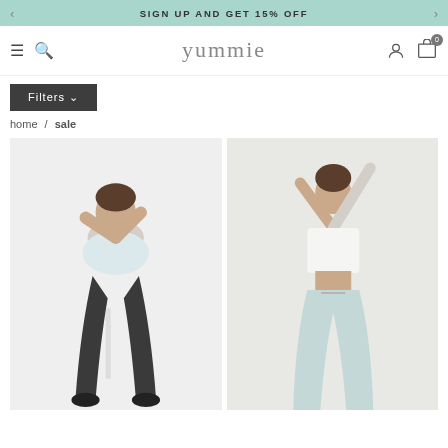SIGN UP AND GET 15% OFF
[Figure (logo): yummie brand logo in the navigation bar]
Filters
home / sale
[Figure (photo): Woman in white t-shirt and black leggings sitting on a stool]
[Figure (photo): Woman in white crop top and light blue wide-leg pants stretching arms overhead]